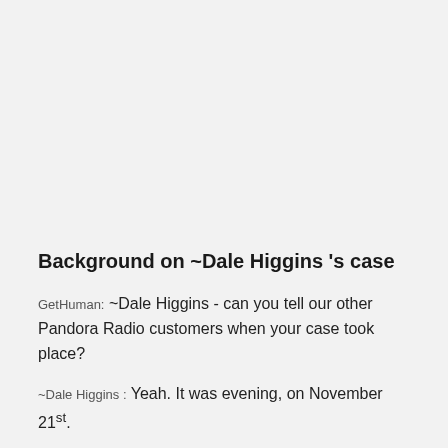Background on ~Dale Higgins 's case
GetHuman: ~Dale Higgins - can you tell our other Pandora Radio customers when your case took place?
~Dale Higgins : Yeah. It was evening, on November 21st.
GetHuman: Did you reach out to Pandora Radio, and if so, how?